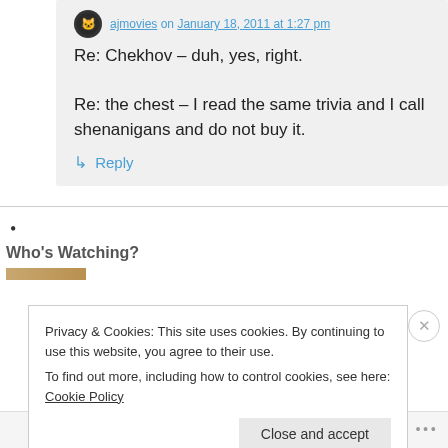ajmovies on January 18, 2011 at 1:27 pm
Re: Chekhov – duh, yes, right.

Re: the chest – I read the same trivia and I call shenanigans and do not buy it.
↳ Reply
Who's Watching?
Privacy & Cookies: This site uses cookies. By continuing to use this website, you agree to their use.
To find out more, including how to control cookies, see here: Cookie Policy
Close and accept
Follow